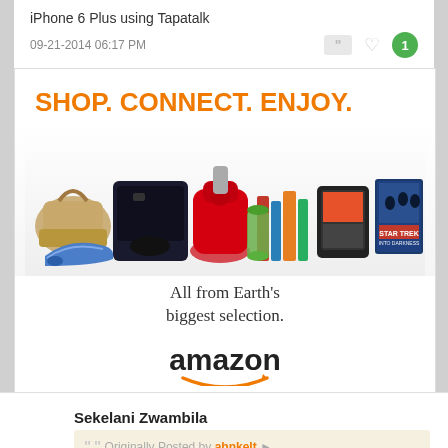iPhone 6 Plus using Tapatalk
09-21-2014 06:17 PM
[Figure (screenshot): Amazon advertisement banner showing 'SHOP. CONNECT. ENJOY.' headline in orange with product images (bag, PS4, KitchenAid mixer, books, Kindle tablet, Star Trek movie) and tagline 'All from Earth's biggest selection.' with Amazon logo and arrow underneath. Privacy label at bottom left.]
Sekelani Zwambila
Originally Posted by abnkelt